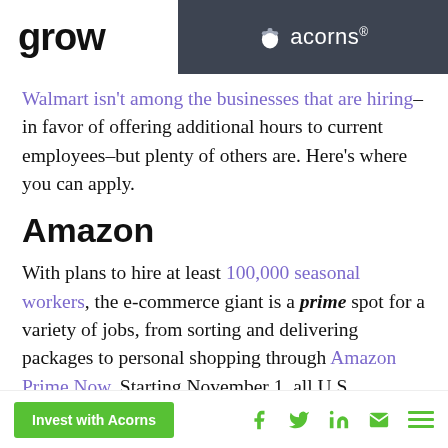grow | acorns®
Walmart isn't among the businesses that are hiring–in favor of offering additional hours to current employees–but plenty of others are. Here's where you can apply.
Amazon
With plans to hire at least 100,000 seasonal workers, the e-commerce giant is a prime spot for a variety of jobs, from sorting and delivering packages to personal shopping through Amazon Prime Now. Starting November 1, all U.S.
Invest with Acorns